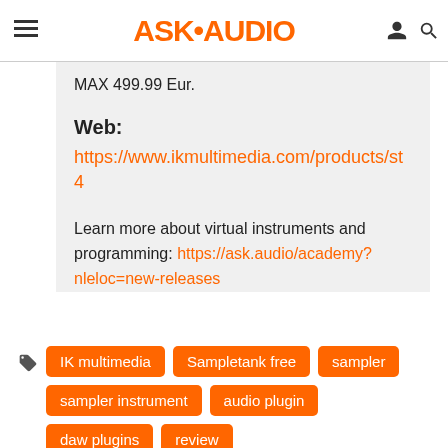ASK•AUDIO
MAX 499.99 Eur.
Web:
https://www.ikmultimedia.com/products/st4
Learn more about virtual instruments and programming: https://ask.audio/academy?nleloc=new-releases
IK multimedia
Sampletank free
sampler
sampler instrument
audio plugin
daw plugins
review